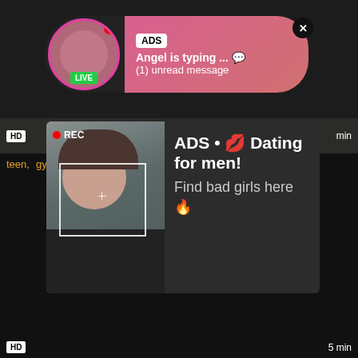[Figure (screenshot): Mobile app notification banner with avatar showing LIVE badge, pink gradient bubble with ADS label, text 'Angel is typing ... 💬' and '(1) unread message', close X button]
[Figure (screenshot): HD video strip with REC indicator badge and time label]
teen, gy...
[Figure (advertisement): Ad popup with photo of woman taking selfie with REC overlay, text: ADS • 💋 Dating for men! Find bad girls here 🔥]